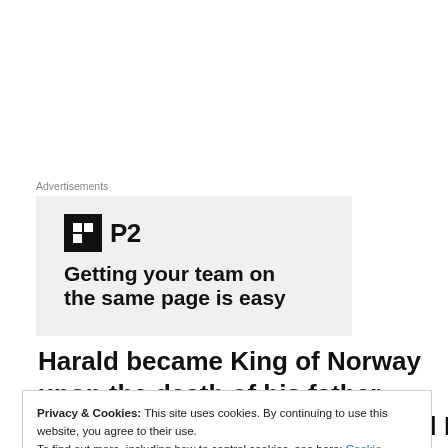Advertisements
[Figure (other): Advertisement banner for P2 with logo and tagline 'Getting your team on the same page is easy']
Harald became King of Norway upon the death of his father, King Olav V, on January 17, 1991. He became the first Norwegian-born monarch since Magnus VII
Privacy & Cookies: This site uses cookies. By continuing to use this website, you agree to their use. To find out more, including how to control cookies, see here: Cookie Policy
Bluetooth, Harald Hardrada, and Harald Gille. Harald